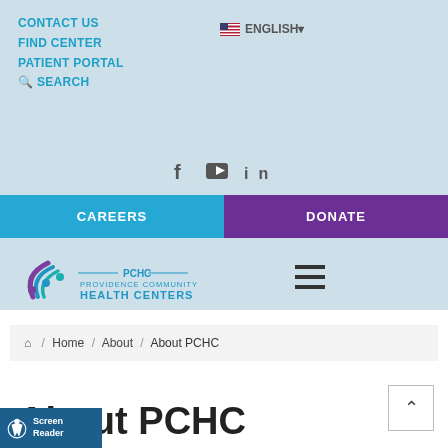CONTACT US
FIND CENTER
PATIENT PORTAL
SEARCH
ENGLISH
[Figure (logo): Social media icons: Facebook, YouTube, LinkedIn]
CAREERS
DONATE
[Figure (logo): PCHC - Providence Community Health Centers logo with circular people icon]
[Figure (other): Hamburger menu icon (three horizontal lines)]
Home / About / About PCHC
About PCHC
[Figure (other): Screen Reader accessibility icon]
Screen Reader